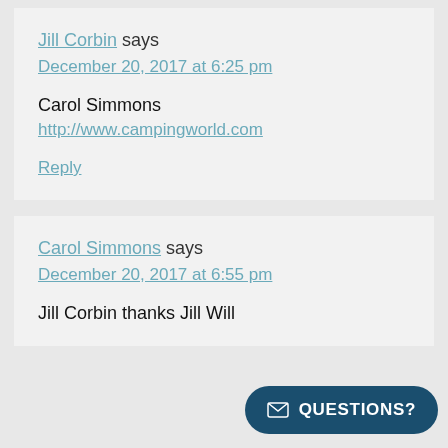Jill Corbin says
December 20, 2017 at 6:25 pm
Carol Simmons
http://www.campingworld.com
Reply
Carol Simmons says
December 20, 2017 at 6:55 pm
Jill Corbin thanks Jill Will